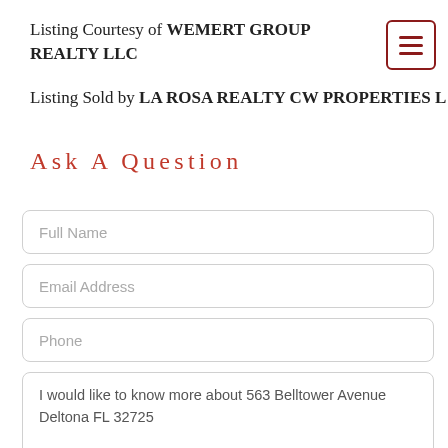Listing Courtesy of WEMERT GROUP REALTY LLC
Listing Sold by LA ROSA REALTY CW PROPERTIES L
Ask A Question
Full Name
Email Address
Phone
I would like to know more about 563 Belltower Avenue Deltona FL 32725